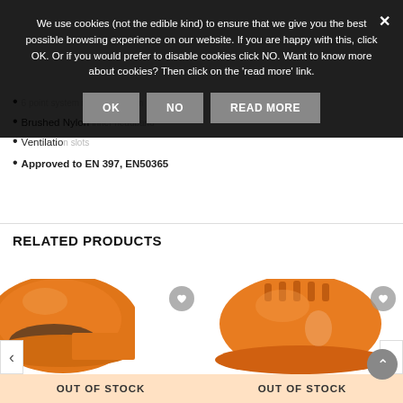We use cookies (not the edible kind) to ensure that we give you the best possible browsing experience on our website. If you are happy with this, click OK. Or if you would prefer to disable cookies click NO. Want to know more about cookies? Then click on the 'read more' link.
6 point system ratchet adjustment
Brushed Nylon inner headband
Ventilation slots
Approved to EN 397, EN50365
RELATED PRODUCTS
[Figure (photo): Orange safety helmet cap style, left product card, showing out of stock overlay]
[Figure (photo): Orange hard hat style helmet, right product card, showing out of stock overlay]